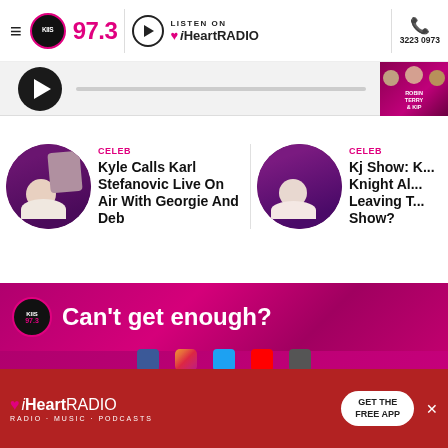[Figure (screenshot): KIIS 97.3 radio station website header with hamburger menu, KIIS 97.3 logo in pink, iHeartRadio listen link with play button, and phone number 3223 0973]
[Figure (screenshot): Audio player bar with large circular play button, progress bar, and Robin Terry & Kip show image]
CELEB
Kyle Calls Karl Stefanovic Live On Air With Georgie And Deb
CELEB
Kj Show: Knight Al... Leaving T... Show?
[Figure (screenshot): Pink promotional banner with KIIS 97.3 logo and text 'Can't get enough?' with social media icons below]
[Figure (screenshot): iHeartRadio advertisement banner with 'GET THE FREE APP' button]